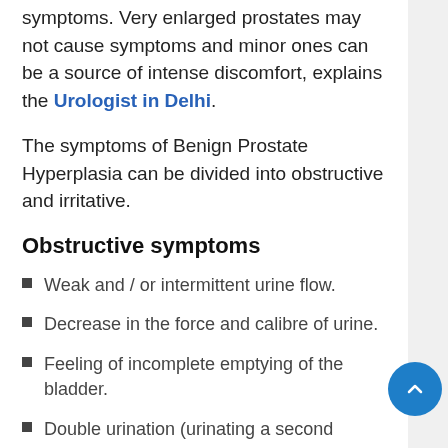symptoms. Very enlarged prostates may not cause symptoms and minor ones can be a source of intense discomfort, explains the Urologist in Delhi.
The symptoms of Benign Prostate Hyperplasia can be divided into obstructive and irritative.
Obstructive symptoms
Weak and / or intermittent urine flow.
Decrease in the force and calibre of urine.
Feeling of incomplete emptying of the bladder.
Double urination (urinating a second